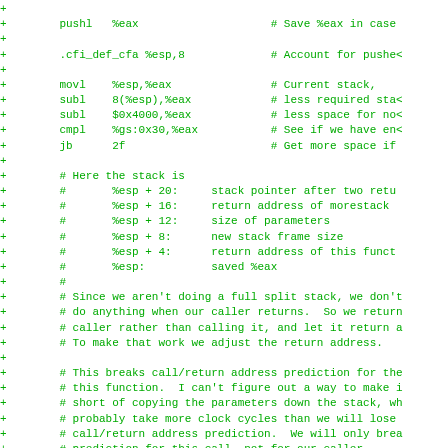[Figure (other): Assembly language diff/patch code snippet showing x86 stack manipulation with comments, displayed in green monospace font on white background]